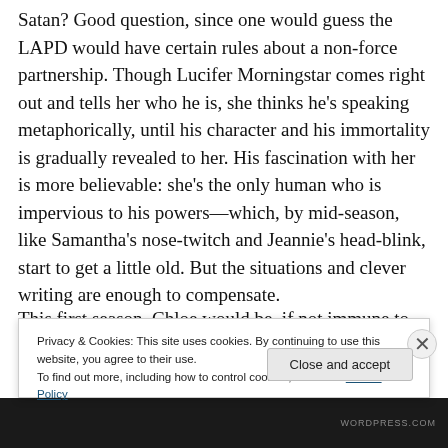Satan? Good question, since one would guess the LAPD would have certain rules about a non-force partnership. Though Lucifer Morningstar comes right out and tells her who he is, she thinks he's speaking metaphorically, until his character and his immortality is gradually revealed to her. His fascination with her is more believable: she's the only human who is impervious to his powers—which, by mid-season, like Samantha's nose-twitch and Jeannie's head-blink, start to get a little old. But the situations and clever writing are enough to compensate.
This first season, Chloe would be, if not immune to the sheer…
Privacy & Cookies: This site uses cookies. By continuing to use this website, you agree to their use.
To find out more, including how to control cookies, see here: Cookie Policy